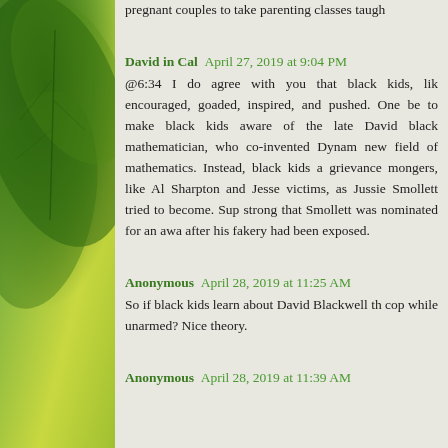pregnant couples to take parenting classes taugh
David in Cal  April 27, 2019 at 9:04 PM
@6:34 I do agree with you that black kids, like encouraged, goaded, inspired, and pushed. One be to make black kids aware of the late David black mathematician, who co-invented Dynam new field of mathematics. Instead, black kids a grievance mongers, like Al Sharpton and Jesse victims, as Jussie Smollett tried to become. Sup strong that Smollett was nominated for an awa after his fakery had been exposed.
Anonymous  April 28, 2019 at 11:25 AM
So if black kids learn about David Blackwell th cop while unarmed? Nice theory.
Anonymous  April 28, 2019 at 11:39 AM